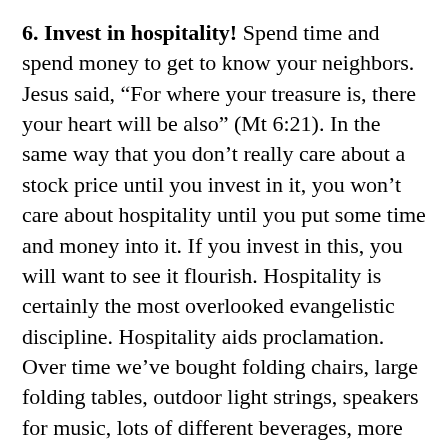6. Invest in hospitality! Spend time and spend money to get to know your neighbors. Jesus said, “For where your treasure is, there your heart will be also” (Mt 6:21). In the same way that you don’t really care about a stock price until you invest in it, you won’t care about hospitality until you put some time and money into it. If you invest in this, you will want to see it flourish. Hospitality is certainly the most overlooked evangelistic discipline. Hospitality aids proclamation. Over time we’ve bought folding chairs, large folding tables, outdoor light strings, speakers for music, lots of different beverages, more plates, etc.